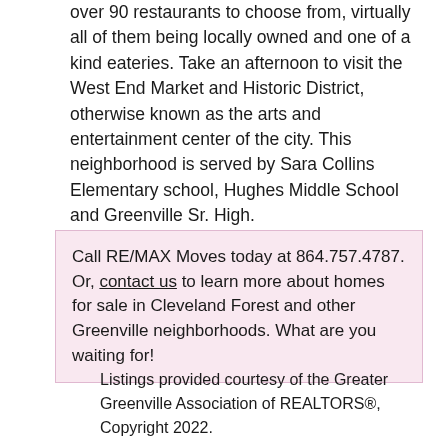over 90 restaurants to choose from, virtually all of them being locally owned and one of a kind eateries. Take an afternoon to visit the West End Market and Historic District, otherwise known as the arts and entertainment center of the city. This neighborhood is served by Sara Collins Elementary school, Hughes Middle School and Greenville Sr. High.
Call RE/MAX Moves today at 864.757.4787. Or, contact us to learn more about homes for sale in Cleveland Forest and other Greenville neighborhoods. What are you waiting for!
Listings provided courtesy of the Greater Greenville Association of REALTORS®, Copyright 2022.